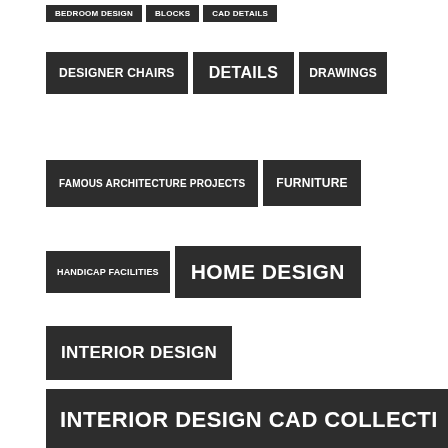BEDROOM DESIGN
BLOCKS
CAD DETAILS
DESIGNER CHAIRS
DETAILS
DRAWINGS
FAMOUS ARCHITECTURE PROJECTS
FURNITURE
HANDICAP FACILITIES
HOME DESIGN
INTERIOR DESIGN
INTERIOR DESIGN CAD COLLECTI
KITCHEN DESIGN
LANDSCAPE
LANDSCAPE ARCHITECTURE
LANDSCAPE DESIGN